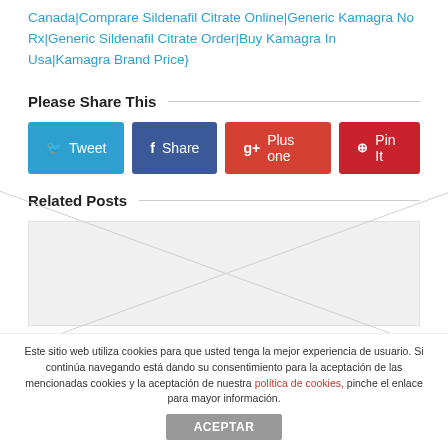Canada|Comprare Sildenafil Citrate Online|Generic Kamagra No Rx|Generic Sildenafil Citrate Order|Buy Kamagra In Usa|Kamagra Brand Price}
Please Share This
[Figure (other): Social share buttons: Tweet (Twitter, blue), Share (Facebook, dark blue), Plus one (Google+, red), Pin It (Pinterest, dark red)]
Related Posts
[Figure (photo): Placeholder image with light gray background and diagonal cross lines]
Este sitio web utiliza cookies para que usted tenga la mejor experiencia de usuario. Si continúa navegando está dando su consentimiento para la aceptación de las mencionadas cookies y la aceptación de nuestra política de cookies, pinche el enlace para mayor información.
ACEPTAR